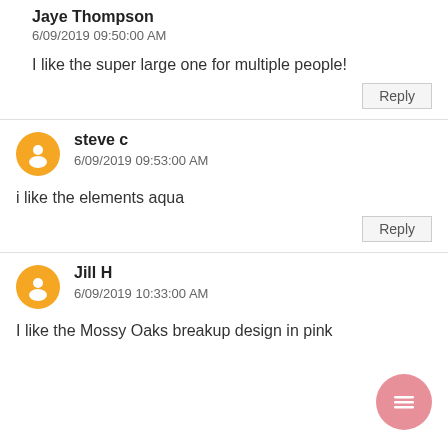Jaye Thompson
6/09/2019 09:50:00 AM
I like the super large one for multiple people!
Reply
steve c
6/09/2019 09:53:00 AM
i like the elements aqua
Reply
Jill H
6/09/2019 10:33:00 AM
I like the Mossy Oaks breakup design in pink